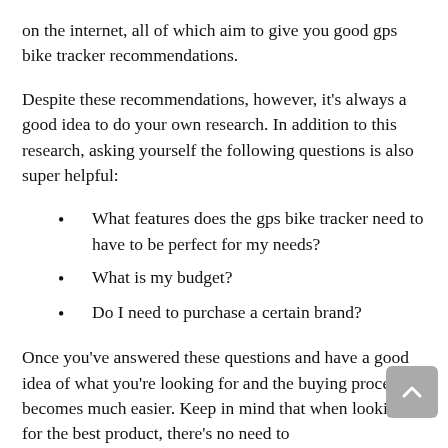on the internet, all of which aim to give you good gps bike tracker recommendations.
Despite these recommendations, however, it's always a good idea to do your own research. In addition to this research, asking yourself the following questions is also super helpful:
What features does the gps bike tracker need to have to be perfect for my needs?
What is my budget?
Do I need to purchase a certain brand?
Once you've answered these questions and have a good idea of what you're looking for and the buying process becomes much easier. Keep in mind that when looking for the best product, there's no need to